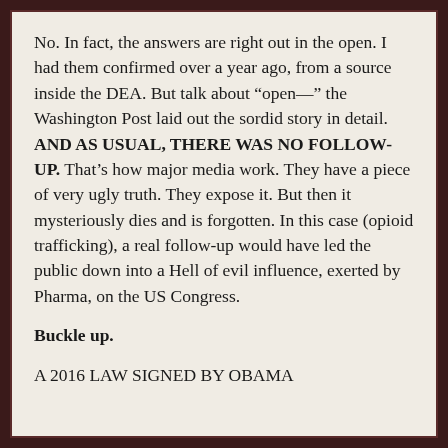No. In fact, the answers are right out in the open. I had them confirmed over a year ago, from a source inside the DEA. But talk about “open—” the Washington Post laid out the sordid story in detail. AND AS USUAL, THERE WAS NO FOLLOW-UP. That’s how major media work. They have a piece of very ugly truth. They expose it. But then it mysteriously dies and is forgotten. In this case (opioid trafficking), a real follow-up would have led the public down into a Hell of evil influence, exerted by Pharma, on the US Congress.
Buckle up.
A 2016 LAW SIGNED BY OBAMA